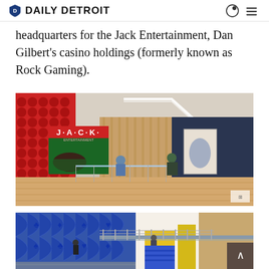DAILY DETROIT
headquarters for the Jack Entertainment, Dan Gilbert's casino holdings (formerly known as Rock Gaming).
[Figure (photo): Interior rendering of Jack Entertainment headquarters lobby showing red decorative wall panels, a large blackjack gaming screen, wood flooring, modern lighting, and people sitting in a lounge area.]
[Figure (photo): Exterior or atrium rendering of a building with blue card-suit patterned walls, metal railings, people on different levels, and yellow/wood accent elements.]